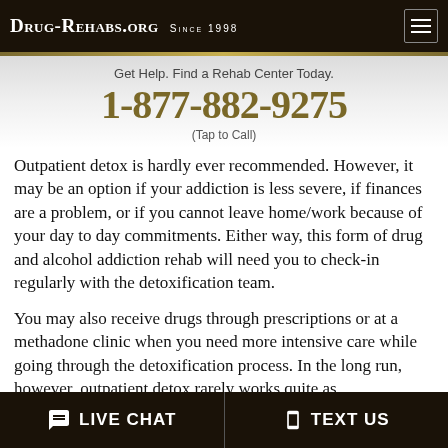Drug-Rehabs.org Since 1998
Get Help. Find a Rehab Center Today.
1-877-882-9275
(Tap to Call)
Outpatient detox is hardly ever recommended. However, it may be an option if your addiction is less severe, if finances are a problem, or if you cannot leave home/work because of your day to day commitments. Either way, this form of drug and alcohol addiction rehab will need you to check-in regularly with the detoxification team.
You may also receive drugs through prescriptions or at a methadone clinic when you need more intensive care while going through the detoxification process. In the long run, however, outpatient detox rarely works quite as
LIVE CHAT   TEXT US